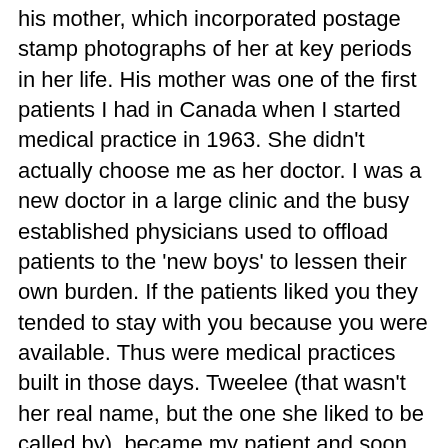his mother, which incorporated postage stamp photographs of her at key periods in her life. His mother was one of the first patients I had in Canada when I started medical practice in 1963. She didn't actually choose me as her doctor. I was a new doctor in a large clinic and the busy established physicians used to offload patients to the 'new boys' to lessen their own burden. If the patients liked you they tended to stay with you because you were available. Thus were medical practices built in those days. Tweelee (that wasn't her real name, but the one she liked to be called by)  became my patient and soon she and her husband became close friends with my wife and me. A life-long relationship that only death could end.   The cover photograph was a beautifully composed picture of her, probably in her mid-eighties, sitting upright on a beautiful period couch, slight smile on her face, looking for all the world like a duchess from a previous century. Indeed, she so fit into that model of a duchess, that years earlier I liked to tease her by addressing her as 'Duchess'. I think she liked that